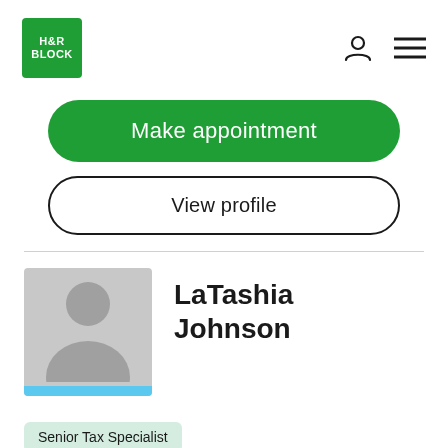[Figure (logo): H&R Block green square logo with white text reading H&R BLOCK]
[Figure (illustration): Person icon (silhouette) and hamburger menu icon in the top navigation bar]
Make appointment
View profile
[Figure (photo): Generic gray avatar/silhouette placeholder image with light blue bar at the bottom]
LaTashia Johnson
Senior Tax Specialist